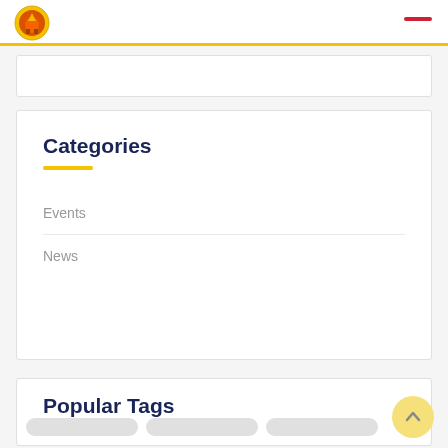Government website header with logo and menu icon
Categories
Events
News
Popular Tags